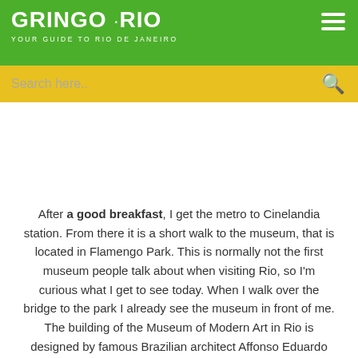GRiNGo·Rio YOUR GUIDE TO RIO DE JANEIRO
Search here..
After a good breakfast, I get the metro to Cinelandia station. From there it is a short walk to the museum, that is located in Flamengo Park. This is normally not the first museum people talk about when visiting Rio, so I'm curious what I get to see today. When I walk over the bridge to the park I already see the museum in front of me. The building of the Museum of Modern Art in Rio is designed by famous Brazilian architect Affonso Eduardo Reidy, and is a piece of modern art on itself. It